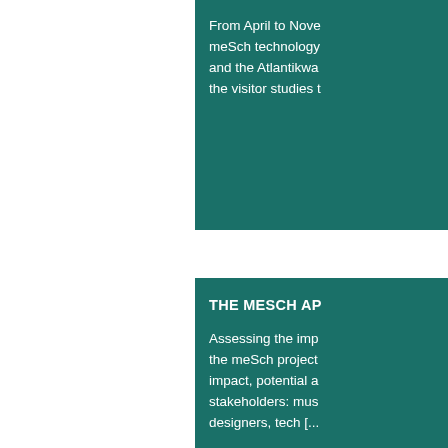From April to November meSch technology and the Atlantikwa the visitor studies t
THE MESCH AP
Assessing the imp the meSch project impact, potential a stakeholders: mus designers, tech [...
MESCH AT THE
On the week of No Heritage conferenc